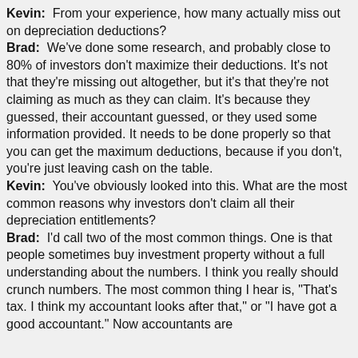Kevin: From your experience, how many actually miss out on depreciation deductions?
Brad: We've done some research, and probably close to 80% of investors don't maximize their deductions. It's not that they're missing out altogether, but it's that they're not claiming as much as they can claim. It's because they guessed, their accountant guessed, or they used some information provided. It needs to be done properly so that you can get the maximum deductions, because if you don't, you're just leaving cash on the table.
Kevin: You've obviously looked into this. What are the most common reasons why investors don't claim all their depreciation entitlements?
Brad: I'd call two of the most common things. One is that people sometimes buy investment property without a full understanding about the numbers. I think you really should crunch numbers. The most common thing I hear is, "That's tax. I think my accountant looks after that," or "I have got a good accountant." Now accountants are